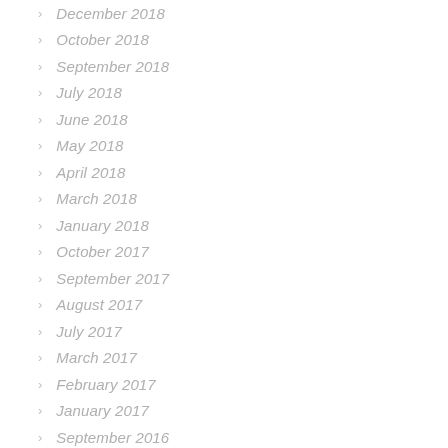December 2018
October 2018
September 2018
July 2018
June 2018
May 2018
April 2018
March 2018
January 2018
October 2017
September 2017
August 2017
July 2017
March 2017
February 2017
January 2017
September 2016